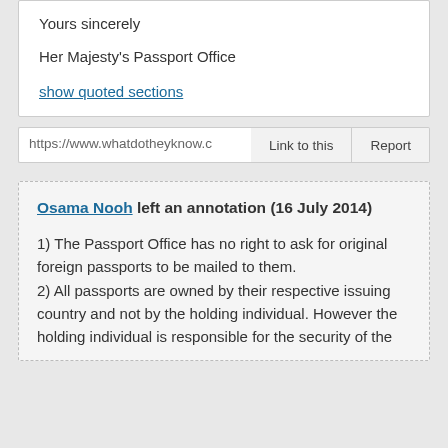Yours sincerely
Her Majesty's Passport Office
show quoted sections
https://www.whatdotheyknow.c
Link to this
Report
Osama Nooh left an annotation (16 July 2014)
1) The Passport Office has no right to ask for original foreign passports to be mailed to them.
2) All passports are owned by their respective issuing country and not by the holding individual. However the holding individual is responsible for the security of the